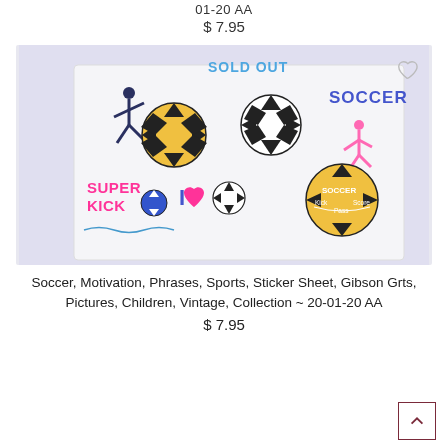01-20 AA
$ 7.95
[Figure (photo): Soccer sticker sheet showing multiple soccer-themed stickers including soccer balls, a player kicking, a pink soccer player figure, 'SUPER KICK' text with ball, 'I [heart] [ball]' sticker, and a soccer ball with 'SOCCER Kick Pass Score' text. Labeled 'SOLD OUT' with a heart wishlist icon.]
Soccer, Motivation, Phrases, Sports, Sticker Sheet, Gibson Grts, Pictures, Children, Vintage, Collection ~ 20-01-20 AA
$ 7.95